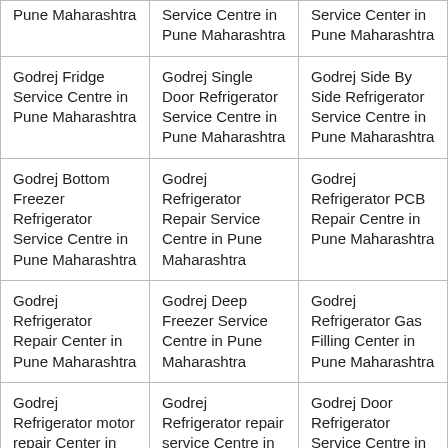| Pune Maharashtra | Service Centre in Pune Maharashtra | Service Center in Pune Maharashtra |
| Godrej Fridge Service Centre in Pune Maharashtra | Godrej Single Door Refrigerator Service Centre in Pune Maharashtra | Godrej Side By Side Refrigerator Service Centre in Pune Maharashtra |
| Godrej Bottom Freezer Refrigerator Service Centre in Pune Maharashtra | Godrej Refrigerator Repair Service Centre in Pune Maharashtra | Godrej Refrigerator PCB Repair Centre in Pune Maharashtra |
| Godrej Refrigerator Repair Center in Pune Maharashtra | Godrej Deep Freezer Service Centre in Pune Maharashtra | Godrej Refrigerator Gas Filling Center in Pune Maharashtra |
| Godrej Refrigerator motor repair Center in Pune Maharashtra | Godrej Refrigerator repair service Centre in Pune Maharashtra | Godrej Door Refrigerator Service Centre in Pune Maharashtra |